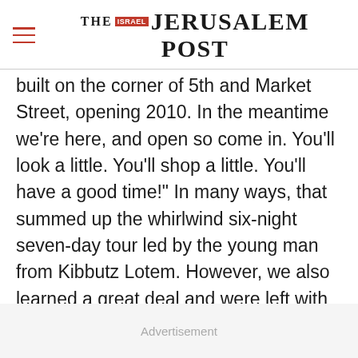THE JERUSALEM POST
built on the corner of 5th and Market Street, opening 2010. In the meantime we're here, and open so come in. You'll look a little. You'll shop a little. You'll have a good time!" In many ways, that summed up the whirlwind six-night seven-day tour led by the young man from Kibbutz Lotem. However, we also learned a great deal and were left with an appetite for more. As much as we would have liked to take Livneh home to Israel
Advertisement